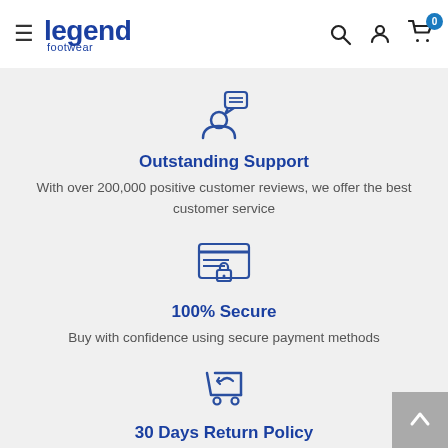Legend Footwear
[Figure (illustration): Icon of a person with a speech/chat bubble above their head, representing customer support]
Outstanding Support
With over 200,000 positive customer reviews, we offer the best customer service
[Figure (illustration): Icon of a credit card with a lock symbol, representing secure payment]
100% Secure
Buy with confidence using secure payment methods
[Figure (illustration): Icon of a shopping cart with a return arrow, representing 30 day return policy]
30 Days Return Policy